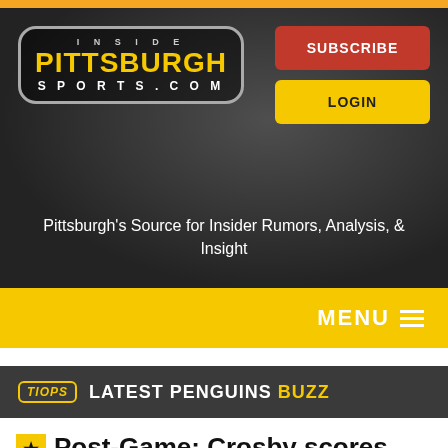[Figure (screenshot): Inside Pittsburgh Sports website header with logo, Subscribe and Login buttons, and tagline]
Pittsburgh's Source for Insider Rumors, Analysis, & Insight
MENU ≡
TIOPS LATEST PENGUINS BUZZ
★ Post-Game: Crosby scores twice in 1st period as Pens dictate play in final 40 minutes